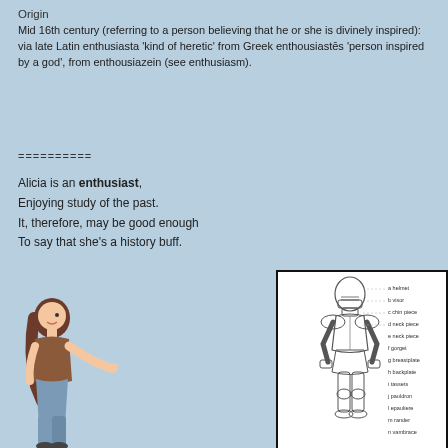Origin
Mid 16th century (referring to a person believing that he or she is divinely inspired): via late Latin enthusiasta 'kind of heretic' from Greek enthousiastēs 'person inspired by a god', from enthousiazein (see enthusiasm).
==========
Alicia is an enthusiast,
Enjoying study of the past.
It, therefore, may be good enough
To say that she's a history buff.
[Figure (illustration): Illustration of a woman pointing at a diagram of a knight in armor with labeled parts (helmet, visor, chin piece, neck piece, gorget, breastplate, backplate, tassets, pauldron, epauliere, rander, vambrace)]
[Figure (illustration): Diagram of a knight in full plate armor with labeled parts: a=helmet, b=visor, c=chin piece, d=neck piece, e=neck piece, f=gorget, g=breastplate, h=backplate, i=tassets, j=pauldron, l=epauliere, m=rander, n=vambrace]